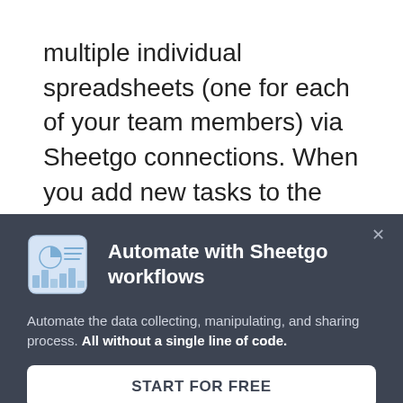multiple individual spreadsheets (one for each of your team members) via Sheetgo connections. When you add new tasks to the master sheet, the data is sent to the appropriate colleague automatically. Each team
[Figure (screenshot): Modal popup with dark background showing Automate with Sheetgo workflows section, including a spreadsheet/chart icon, descriptive text about automation, and a START FOR FREE button.]